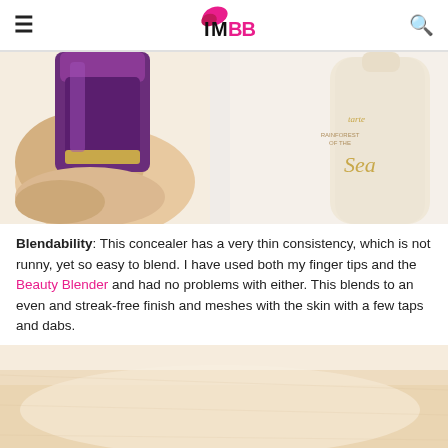IMBB
[Figure (photo): Close-up photo of a hand holding a purple/black concealer brush or applicator next to a Tarte Rainforest of the Sea foundation/concealer bottle on a white surface.]
Blendability: This concealer has a very thin consistency, which is not runny, yet so easy to blend. I have used both my finger tips and the Beauty Blender and had no problems with either. This blends to an even and streak-free finish and meshes with the skin with a few taps and dabs.
[Figure (photo): Close-up photo of a skin swatch showing the concealer applied on an arm/wrist, displaying a light beige/nude tone blended on fair skin.]